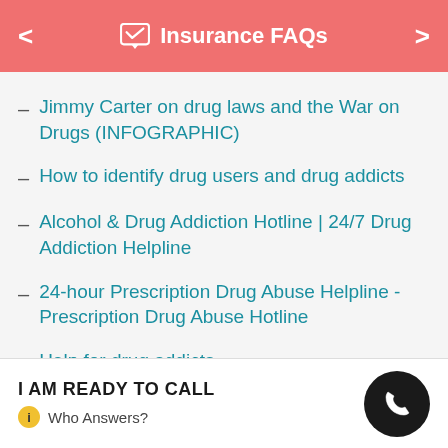Insurance FAQs
– Jimmy Carter on drug laws and the War on Drugs (INFOGRAPHIC)
– How to identify drug users and drug addicts
– Alcohol & Drug Addiction Hotline | 24/7 Drug Addiction Helpline
– 24-hour Prescription Drug Abuse Helpline - Prescription Drug Abuse Hotline
– Help for drug addicts
I AM READY TO CALL
i  Who Answers?